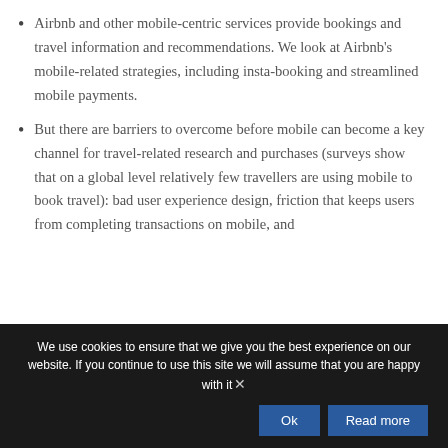Airbnb and other mobile-centric services provide bookings and travel information and recommendations. We look at Airbnb's mobile-related strategies, including insta-booking and streamlined mobile payments.
But there are barriers to overcome before mobile can become a key channel for travel-related research and purchases (surveys show that on a global level relatively few travellers are using mobile to book travel): bad user experience design, friction that keeps users from completing transactions on mobile, and lack of Wi-Fi and 4G...
We use cookies to ensure that we give you the best experience on our website. If you continue to use this site we will assume that you are happy with it